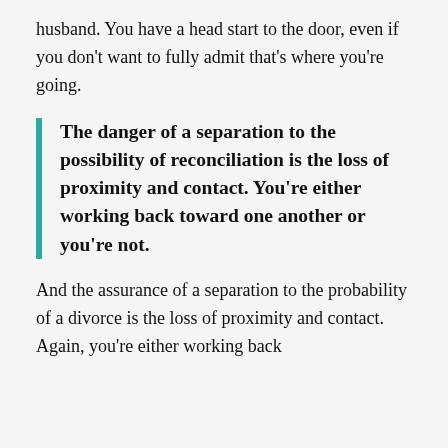husband. You have a head start to the door, even if you don't want to fully admit that's where you're going.
The danger of a separation to the possibility of reconciliation is the loss of proximity and contact. You're either working back toward one another or you're not.
And the assurance of a separation to the probability of a divorce is the loss of proximity and contact. Again, you're either working back